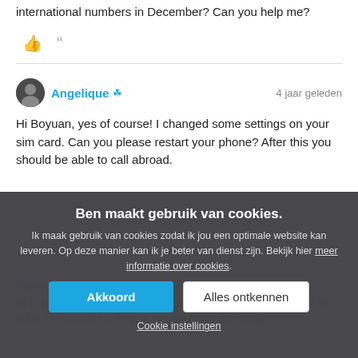international numbers in December? Can you help me?
👍 "
Angelique ♛   4 jaar geleden
Hi Boyuan, yes of course! I changed some settings on your sim card. Can you please restart your phone? After this you should be able to call abroad.
Ben maakt gebruik van cookies.
Ik maak gebruik van cookies zodat ik jou een optimale website kan leveren. Op deze manier kan ik je beter van dienst zijn. Bekijk hier meer informatie over cookies.
Akkoord
Alles ontkennen
Cookie instellingen
Hi I am facing the same trouble of not able to call able to call to other EU countries. Please help me with this issue.